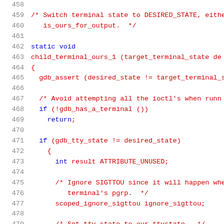[Figure (screenshot): Source code listing showing lines 458-479 of a C/C++ file with line numbers on the left. The code shows a function child_terminal_ours_1 with comments and logic for switching terminal state. Line numbers are in gray, comments in red/dark-red, keywords in blue.]